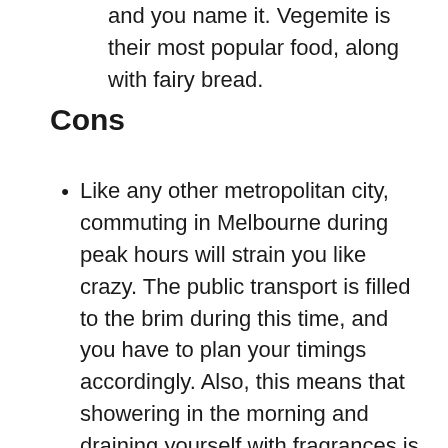and you name it. Vegemite is their most popular food, along with fairy bread.
Cons
Like any other metropolitan city, commuting in Melbourne during peak hours will strain you like crazy. The public transport is filled to the brim during this time, and you have to plan your timings accordingly. Also, this means that showering in the morning and draining yourself with fragrances is not going to help if you travel on a jam-packed train or a bus.
You cannot overlook the fact that Melbourne has a high standard and cost of living. Even if you start minimally, the